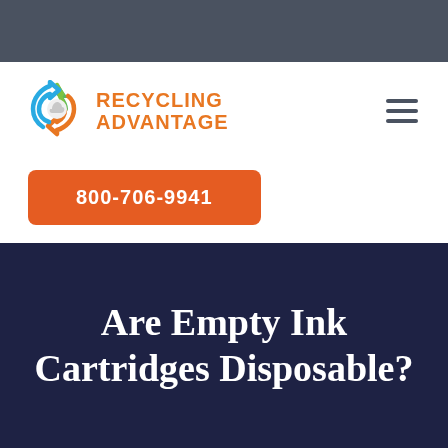[Figure (logo): Recycling Advantage logo with recycling arrows icon in green, orange, and blue, and brand name in orange uppercase text]
800-706-9941
Are Empty Ink Cartridges Disposable?